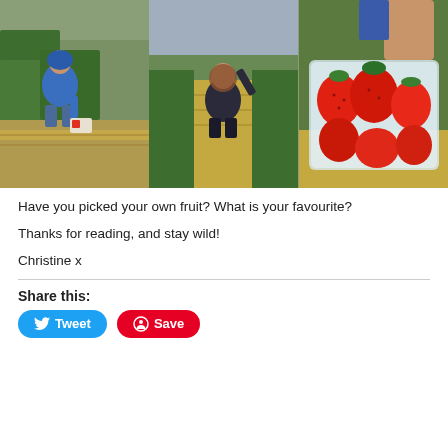[Figure (photo): Three photos side by side of people picking strawberries in a field: left shows a boy crouching among strawberry plants, middle shows a girl smiling and crouching in a row between plants, right shows a close-up of hands holding a punnet of freshly picked strawberries.]
Have you picked your own fruit? What is your favourite?
Thanks for reading, and stay wild!
Christine x
Share this:
Tweet
Save